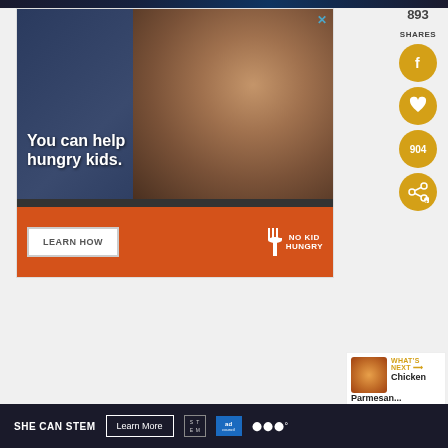[Figure (photo): Dark top strip image area]
[Figure (photo): No Kid Hungry advertisement featuring a child eating food with text 'You can help hungry kids.' and a 'LEARN HOW' button, orange bottom bar with No Kid Hungry logo]
893
SHARES
[Figure (infographic): Social sharing buttons: Facebook icon (gold circle), heart/like icon (gold circle), share count 904 (gold circle), and share icon (gold circle)]
[Figure (photo): WHAT'S NEXT → Chicken Parmesan... with food thumbnail]
[Figure (infographic): Bottom banner: SHE CAN STEM | Learn More button | STEM badge | Ad Council badge | Women's symbol logo]